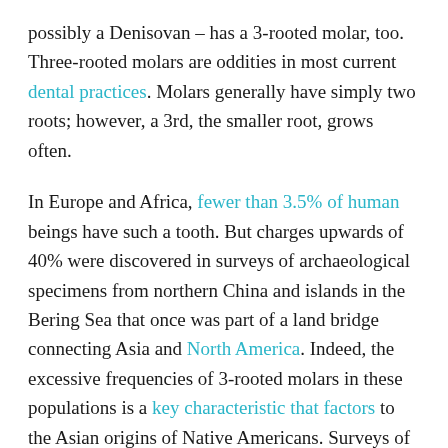possibly a Denisovan – has a 3-rooted molar, too. Three-rooted molars are oddities in most current dental practices. Molars generally have simply two roots; however, a 3rd, the smaller root, grows often.
In Europe and Africa, fewer than 3.5% of human beings have such a tooth. But charges upwards of 40% were discovered in surveys of archaeological specimens from northern China and islands in the Bering Sea that once was part of a land bridge connecting Asia and North America. Indeed, the excessive frequencies of 3-rooted molars in these populations is a key characteristic that factors to the Asian origins of Native Americans. Surveys of current Asian populations additionally have higher prices of the dental anomaly – as much as nearly a 3rd in a few research. When a Denisovan genome became sequenced from a scrap of bone found inside the Siberian Denisova cave, it has become evident that Denisovans met and intermingled with our